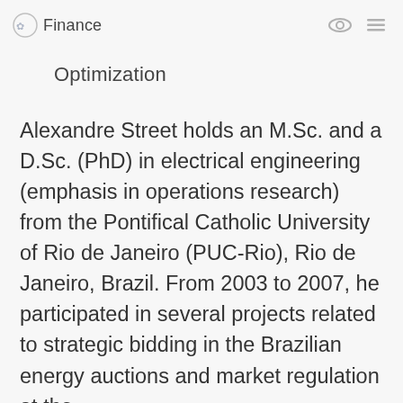LAMP Finance
Optimization
Alexandre Street holds an M.Sc. and a D.Sc. (PhD) in electrical engineering (emphasis in operations research) from the Pontifical Catholic University of Rio de Janeiro (PUC-Rio), Rio de Janeiro, Brazil. From 2003 to 2007, he participated in several projects related to strategic bidding in the Brazilian energy auctions and market regulation at the